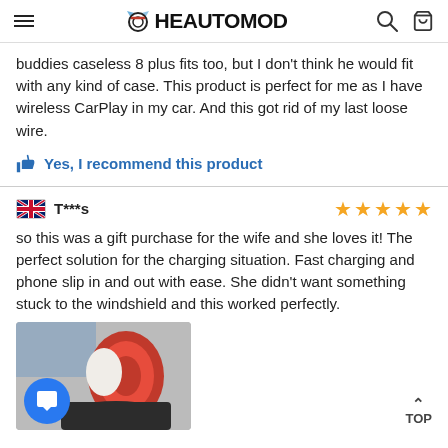THEAUTOMOD
buddies caseless 8 plus fits too, but I don't think he would fit with any kind of case. This product is perfect for me as I have wireless CarPlay in my car. And this got rid of my last loose wire.
Yes, I recommend this product
T***s
so this was a gift purchase for the wife and she loves it! The perfect solution for the charging situation. Fast charging and phone slip in and out with ease. She didn't want something stuck to the windshield and this worked perfectly.
[Figure (photo): Product image showing a red and white wireless phone charging mount in a car cup holder, with a blue chat button overlay in bottom left corner]